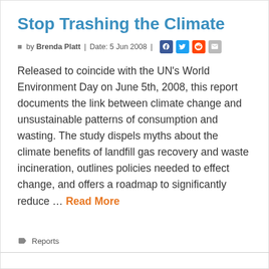Stop Trashing the Climate
by Brenda Platt | Date: 5 Jun 2008 |
Released to coincide with the UN's World Environment Day on June 5th, 2008, this report documents the link between climate change and unsustainable patterns of consumption and wasting. The study dispels myths about the climate benefits of landfill gas recovery and waste incineration, outlines policies needed to effect change, and offers a roadmap to significantly reduce … Read More
Reports